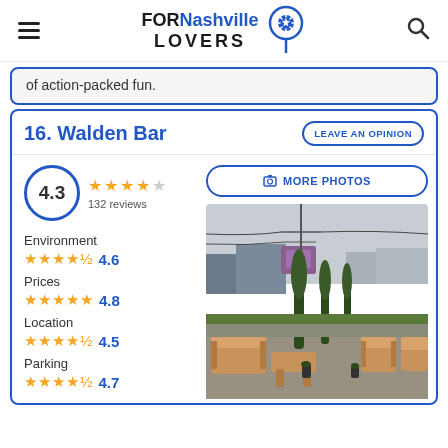FORNashville LOVERS
of action-packed fun.
16. Walden Bar
LEAVE AN OPINION
4.3 ★★★★☆ 132 reviews
📷 MORE PHOTOS
Environment ★★★★½ 4.6
Prices ★★★★★ 4.8
Location ★★★★½ 4.5
Parking ★★★★½ 4.7
[Figure (photo): Outdoor patio area of Walden Bar with wooden furniture (benches, chairs, tables) and tall cypress trees, with a street and buildings visible in the background under an overcast sky.]